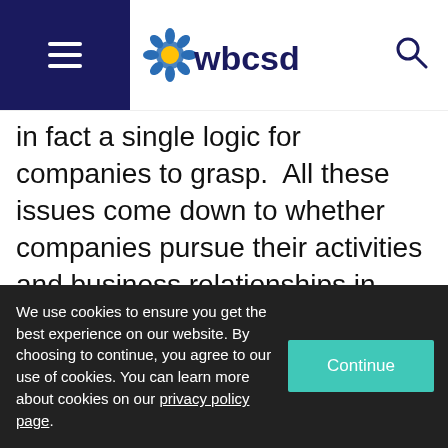wbcsd
in fact a single logic for companies to grasp. All these issues come down to whether companies pursue their activities and business relationships in ways that uphold or undermine the basic dignity and equality – that is, the human rights – of all
We use cookies to ensure you get the best experience on our website. By choosing to continue, you agree to our use of cookies. You can learn more about cookies on our privacy policy page.